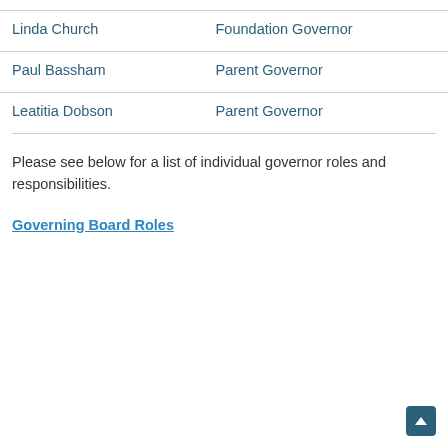| Name | Role |
| --- | --- |
| Linda Church | Foundation Governor |
| Paul Bassham | Parent Governor |
| Leatitia Dobson | Parent Governor |
Please see below for a list of individual governor roles and responsibilities.
Governing Board Roles